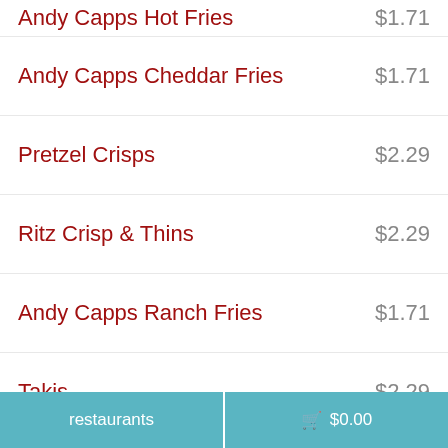Andy Capps Hot Fries — $1.71
Andy Capps Cheddar Fries — $1.71
Pretzel Crisps — $2.29
Ritz Crisp & Thins — $2.29
Andy Capps Ranch Fries — $1.71
Takis — $2.29
Turkey Creek Chicharron Pork Skins — $1.83
restaurants   🛒 $0.00